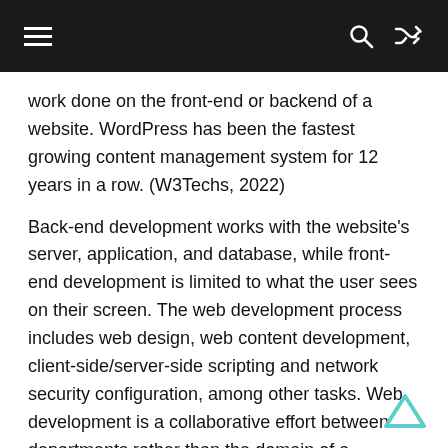≡  🔍  ⇄
work done on the front-end or backend of a website. WordPress has been the fastest growing content management system for 12 years in a row. (W3Techs, 2022)
Back-end development works with the website's server, application, and database, while front-end development is limited to what the user sees on their screen. The web development process includes web design, web content development, client-side/server-side scripting and network security configuration, among other tasks. Web development is a collaborative effort between departments rather than the domain of a designated department.